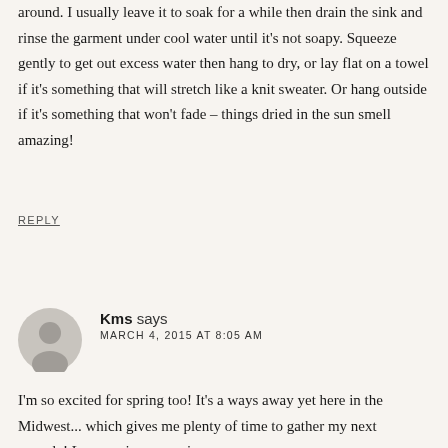around. I usually leave it to soak for a while then drain the sink and rinse the garment under cool water until it's not soapy. Squeeze gently to get out excess water then hang to dry, or lay flat on a towel if it's something that will stretch like a knit sweater. Or hang outside if it's something that won't fade – things dried in the sun smell amazing!
REPLY
Kms says
MARCH 4, 2015 AT 8:05 AM
I'm so excited for spring too! It's a ways away yet here in the Midwest... which gives me plenty of time to gather my next capsule! Love seeing your pieces